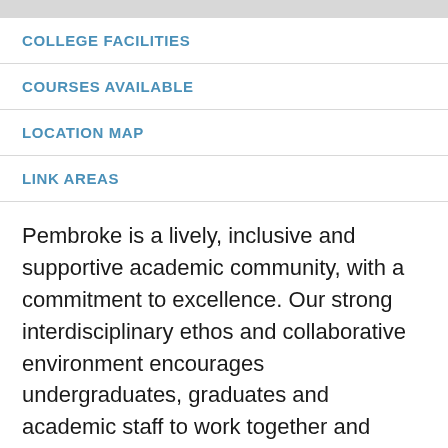COLLEGE FACILITIES
COURSES AVAILABLE
LOCATION MAP
LINK AREAS
Pembroke is a lively, inclusive and supportive academic community, with a commitment to excellence. Our strong interdisciplinary ethos and collaborative environment encourages undergraduates, graduates and academic staff to work together and enables Pembroke students to enhance their studies with a broader outlook on the world. We support each